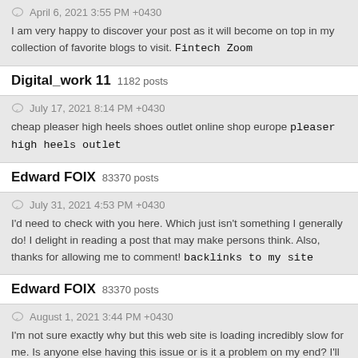April 6, 2021 3:55 PM +0430
I am very happy to discover your post as it will become on top in my collection of favorite blogs to visit. Fintech Zoom
Digital_work 11  1182 posts
July 17, 2021 8:14 PM +0430
cheap pleaser high heels shoes outlet online shop europe pleaser high heels outlet
Edward FOIX  83370 posts
July 31, 2021 4:53 PM +0430
I'd need to check with you here. Which just isn't something I generally do! I delight in reading a post that may make persons think. Also, thanks for allowing me to comment! backlinks to my site
Edward FOIX  83370 posts
August 1, 2021 3:44 PM +0430
I'm not sure exactly why but this web site is loading incredibly slow for me. Is anyone else having this issue or is it a problem on my end? I'll check back later and see if the problem still exists. 안녕하세요안녕하세요안녕하세요안녕하세요안녕하세요